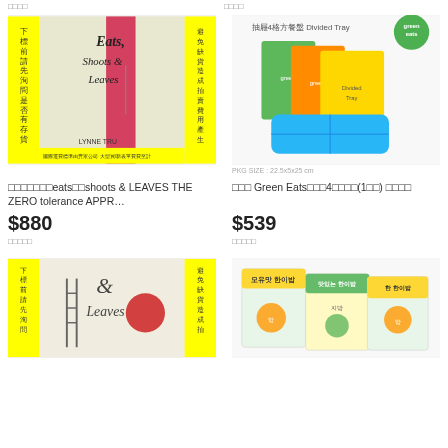□□□□
□□□□
[Figure (photo): Book cover: Eats, Shoots & Leaves by Lynne Truss, with Chinese text and yellow borders]
[Figure (photo): Green Eats divided tray product with colorful plastic trays in packaging, logo top right, PKG SIZE: 22.5x5x25 cm]
□□□□□□□eats□□shoots & LEAVES THE ZERO tolerance APPR…
□□□ Green Eats□□□4□□□□(1□□) □□□□
$880
$539
□□□□□
□□□□□
[Figure (photo): Eats Shoots and Leaves book cover partial view with yellow and white design]
[Figure (photo): Korean snack product boxes with cartoon monkey character and colorful packaging]